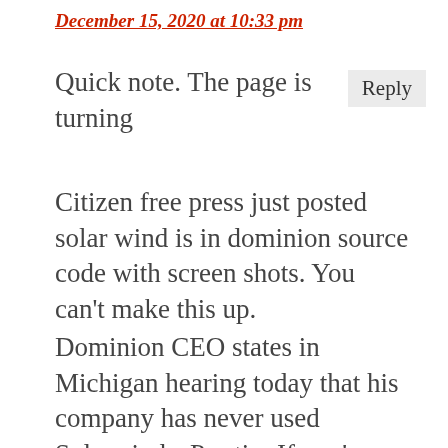December 15, 2020 at 10:33 pm
Quick note. The page is turning
Reply
Citizen free press just posted solar wind is in dominion source code with screen shots. You can't make this up.
Dominion CEO states in Michigan hearing today that his company has never used Solarwinds. Pro tip: If you're gonna remove the Solarwinds logo from your